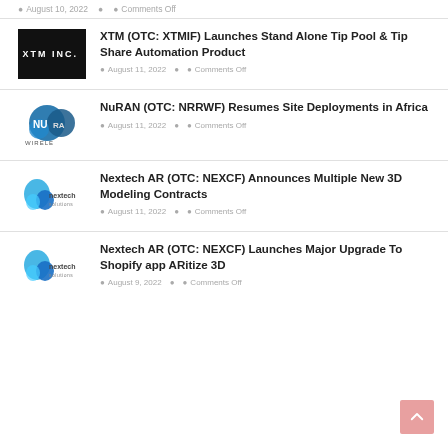August 10, 2022  Comments Off
[Figure (logo): XTM Inc. logo on black background]
XTM (OTC: XTMIF) Launches Stand Alone Tip Pool & Tip Share Automation Product
August 11, 2022  Comments Off
[Figure (logo): NuRAN Wireless logo]
NuRAN (OTC: NRRWF) Resumes Site Deployments in Africa
August 11, 2022  Comments Off
[Figure (logo): Nextech Solutions logo]
Nextech AR (OTC: NEXCF) Announces Multiple New 3D Modeling Contracts
August 11, 2022  Comments Off
[Figure (logo): Nextech Solutions logo]
Nextech AR (OTC: NEXCF) Launches Major Upgrade To Shopify app ARitize 3D
August 9, 2022  Comments Off